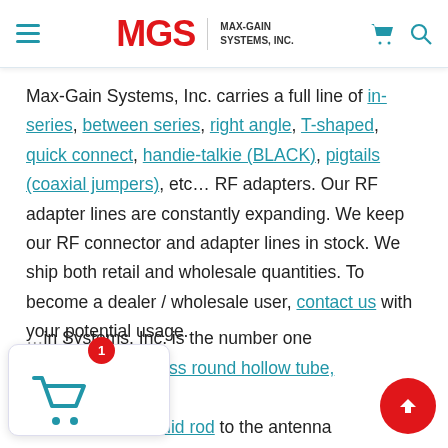MGS MAX-GAIN SYSTEMS, INC.
Max-Gain Systems, Inc. carries a full line of in-series, between series, right angle, T-shaped, quick connect, handie-talkie (BLACK), pigtails (coaxial jumpers), etc... RF adapters. Our RF adapter lines are constantly expanding. We keep our RF connector and adapter lines in stock. We ship both retail and wholesale quantities. To become a dealer / wholesale user, contact us with your potential usage.
Max-Gain Systems, Inc. is the number one supplier of fiberglass round hollow tube, square tube and round solid rod to the antenna